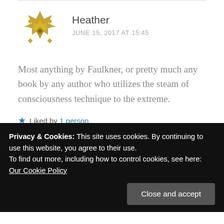[Figure (illustration): Golden/olive decorative geometric avatar icon for user Heather]
Heather
JUNE 15, 2017 AT 15:45
Most anything by Faulkner, or pretty much any book by any author who utilizes the steam of consciousness technique to the extreme.
★ Liked by 1 person
Reply
Privacy & Cookies: This site uses cookies. By continuing to use this website, you agree to their use.
To find out more, including how to control cookies, see here: Our Cookie Policy